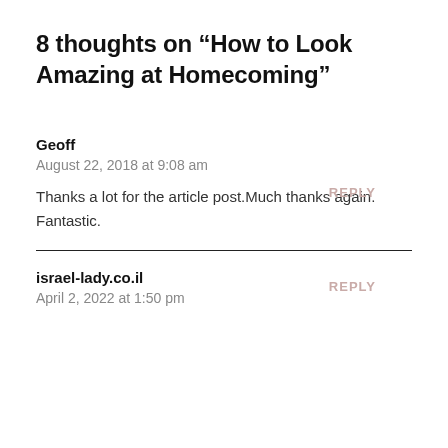8 thoughts on “How to Look Amazing at Homecoming”
Geoff
August 22, 2018 at 9:08 am
REPLY
Thanks a lot for the article post.Much thanks again. Fantastic.
israel-lady.co.il
April 2, 2022 at 1:50 pm
REPLY